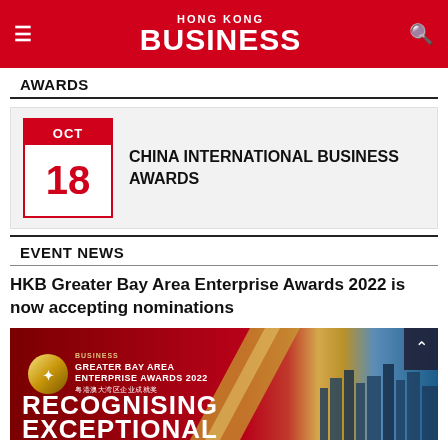HONG KONG BUSINESS
AWARDS
[Figure (other): Calendar date card showing OCT 18 in red and white, next to text reading CHINA INTERNATIONAL BUSINESS AWARDS]
EVENT NEWS
HKB Greater Bay Area Enterprise Awards 2022 is now accepting nominations
[Figure (photo): Banner image for HKB Greater Bay Area Enterprise Awards 2022. Red background with gold logo circle, text: GREATER BAY AREA ENTERPRISE AWARDS 2022, 粤港澳大湾区企业成就奖, RECOGNISING EXCEPTIONAL. Right side shows city skyline at night.]